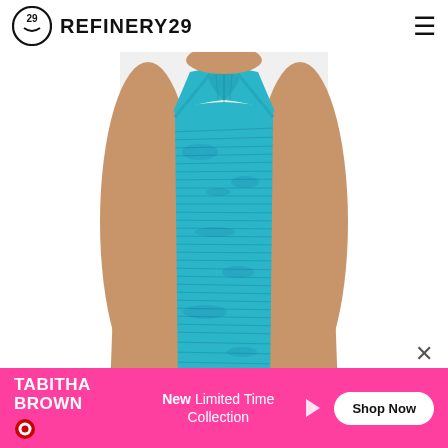REFINERY29
[Figure (photo): A model wearing a teal/turquoise space-dye halter mini dress against a white background. The dress has a high halter neckline with ruching at the top and a ribbed/knit texture throughout in a blue-teal marbled pattern.]
[Figure (infographic): Tabitha Brown x Target advertisement banner. Hot pink background. Left side shows Tabitha Brown logo with Target bullseye icon. Center text reads 'New Limited Time Collection'. Right side has a white pill-shaped 'Shop Now' button. Top right has a close (X) button and a play/sound triangle icon.]